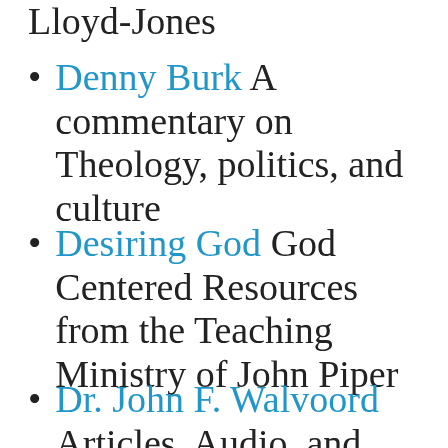Lloyd-Jones
Denny Burk A commentary on Theology, politics, and culture
Desiring God God Centered Resources from the Teaching Ministry of John Piper
Dr. John F. Walvoord Articles, Audio, and Various Resources From